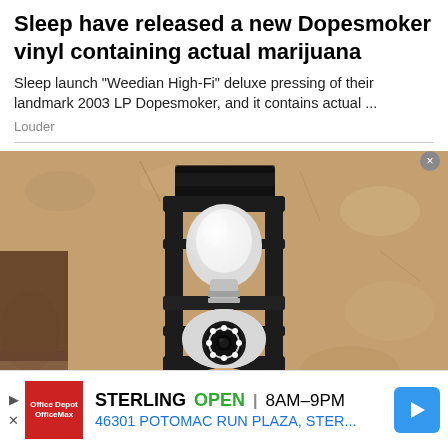Sleep have released a new Dopesmoker vinyl containing actual marijuana
Sleep launch "Weedian High-Fi" deluxe pressing of their landmark 2003 LP Dopesmoker, and it contains actual ...
Louder
[Figure (photo): A wall-mounted outdoor lantern light fixture with a camera security bulb installed inside it, shown against a textured stucco wall]
STERLING  OPEN  8AM–9PM  46301 POTOMAC RUN PLAZA, STER...